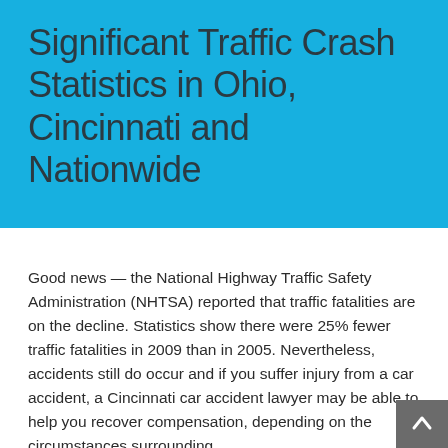Significant Traffic Crash Statistics in Ohio, Cincinnati and Nationwide
Good news — the National Highway Traffic Safety Administration (NHTSA) reported that traffic fatalities are on the decline. Statistics show there were 25% fewer traffic fatalities in 2009 than in 2005. Nevertheless, accidents still do occur and if you suffer injury from a car accident, a Cincinnati car accident lawyer may be able to help you recover compensation, depending on the circumstances surrounding